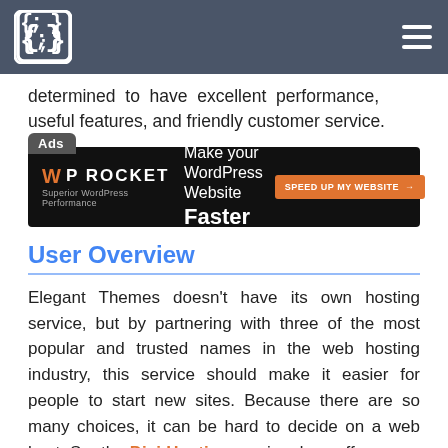{;} [logo] [hamburger menu]
determined to have excellent performance, useful features, and friendly customer service.
[Figure (other): WP Rocket advertisement banner: 'Make your WordPress Website Faster' with a 'Speed up my website' button]
User Overview
Elegant Themes doesn't have its own hosting service, but by partnering with three of the most popular and trusted names in the web hosting industry, this service should make it easier for people to start new sites. Because there are so many choices, it can be hard to decide on a web host. So, the Divi Hosting service does offer a way for people who would rather not have to make this choice.